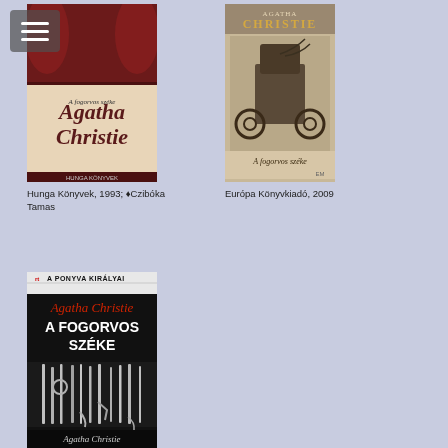[Figure (illustration): Book cover: Agatha Christie 'A fogorvos széke', Hunga Könyvek edition 1993. Dark red/brown tones with decorative elements and author name in large serif font.]
Hunga Könyvek, 1993; ♦Czibóka Tamas
[Figure (illustration): Book cover: Agatha Christie 'A fogorvos széke', Európa Könyvkiadó 2009 edition. Sepia-toned photo of a wheelchair/dentist chair with wires.]
Európa Könyvkiadó, 2009
[Figure (illustration): Book cover: Agatha Christie 'A fogorvos széke', A ponyva királyai series. Black cover with dental instruments image, script author name and block title text.]